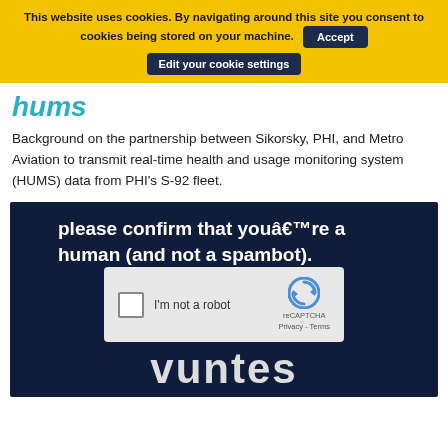This website uses cookies. By navigating around this site you consent to cookies being stored on your machine. Accept
Edit your cookie settings
hums
Background on the partnership between Sikorsky, PHI, and Metro Aviation to transmit real-time health and usage monitoring system (HUMS) data from PHI's S-92 fleet.
[Figure (screenshot): A dark navy background with white bold text reading 'please confirm that youâ€™re a human (and not a spambot).' overlaid with a reCAPTCHA widget showing a checkbox labeled 'I'm not a robot' and a reCAPTCHA logo with Privacy and Terms links. Below the widget, partially visible white bold text reads 'vuntes'.]